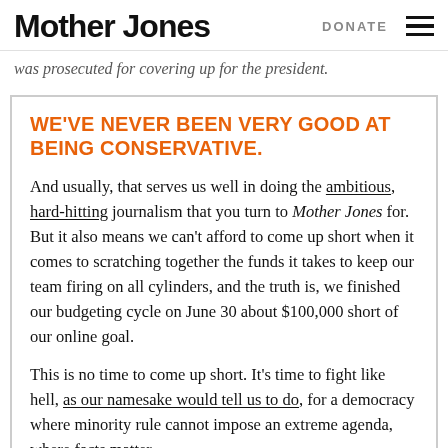Mother Jones | DONATE
was prosecuted for covering up for the president.
WE'VE NEVER BEEN VERY GOOD AT BEING CONSERVATIVE.
And usually, that serves us well in doing the ambitious, hard-hitting journalism that you turn to Mother Jones for. But it also means we can't afford to come up short when it comes to scratching together the funds it takes to keep our team firing on all cylinders, and the truth is, we finished our budgeting cycle on June 30 about $100,000 short of our online goal.
This is no time to come up short. It's time to fight like hell, as our namesake would tell us to do, for a democracy where minority rule cannot impose an extreme agenda, where facts matter